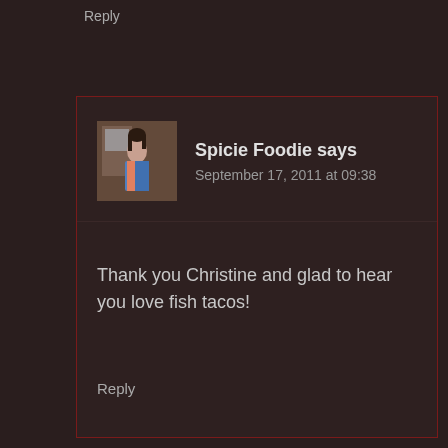Reply
[Figure (photo): Avatar photo of Spicie Foodie, a woman in a colorful outfit standing indoors]
Spicie Foodie says
September 17, 2011 at 09:38
Thank you Christine and glad to hear you love fish tacos!
Reply